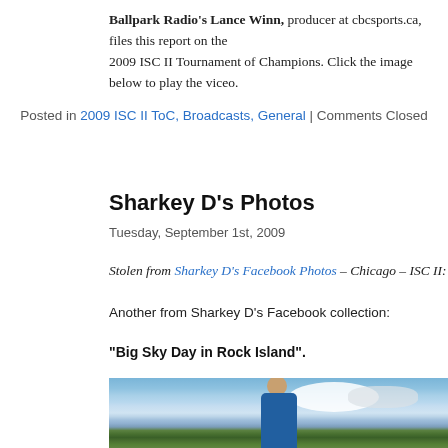Ballpark Radio's Lance Winn, producer at cbcsports.ca, files this report on the 2009 ISC II Tournament of Champions. Click the image below to play the video.
Posted in 2009 ISC II ToC, Broadcasts, General | Comments Closed
Sharkey D's Photos
Tuesday, September 1st, 2009
Stolen from Sharkey D's Facebook Photos – Chicago – ISC II:
Another from Sharkey D's Facebook collection:
“Big Sky Day in Rock Island”.
[Figure (photo): Outdoor photo of a man in a blue Blackburn baseball jersey and cap, standing in front of trees under a blue sky with white clouds. Labeled 'Big Sky Day in Rock Island'.]